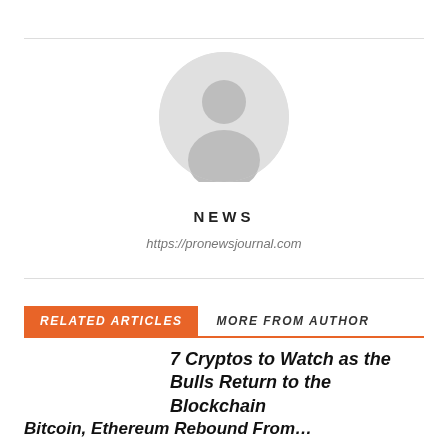[Figure (illustration): Default user avatar icon — a grey circle with a white silhouette of a person (head and shoulders)]
NEWS
https://pronewsjournal.com
RELATED ARTICLES   MORE FROM AUTHOR
7 Cryptos to Watch as the Bulls Return to the Blockchain
Bitcoin, Ethereum Rebound From…